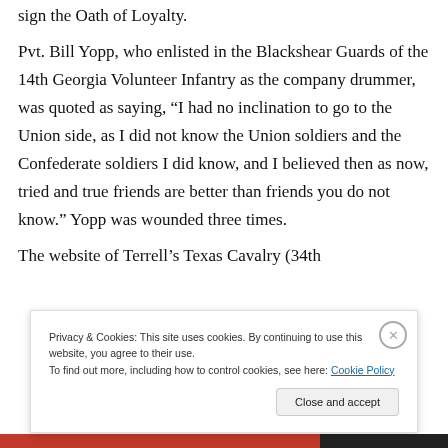sign the Oath of Loyalty.
Pvt. Bill Yopp, who enlisted in the Blackshear Guards of the 14th Georgia Volunteer Infantry as the company drummer, was quoted as saying, “I had no inclination to go to the Union side, as I did not know the Union soldiers and the Confederate soldiers I did know, and I believed then as now, tried and true friends are better than friends you do not know.” Yopp was wounded three times.
The website of Terrell’s Texas Cavalry (34th
Privacy & Cookies: This site uses cookies. By continuing to use this website, you agree to their use.
To find out more, including how to control cookies, see here: Cookie Policy